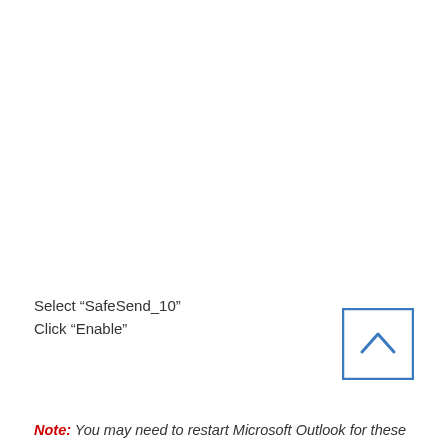Select “SafeSend_10”
Click “Enable”
[Figure (other): A square button with an upward-pointing chevron/caret arrow icon, outlined in blue, resembling a scroll-to-top UI button.]
Note: You may need to restart Microsoft Outlook for these